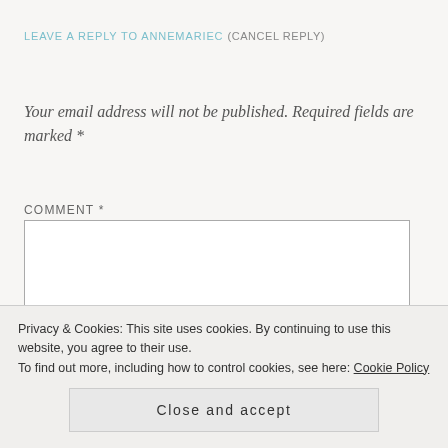LEAVE A REPLY TO ANNEMARIEC (CANCEL REPLY)
Your email address will not be published. Required fields are marked *
COMMENT *
Privacy & Cookies: This site uses cookies. By continuing to use this website, you agree to their use.
To find out more, including how to control cookies, see here: Cookie Policy
Close and accept